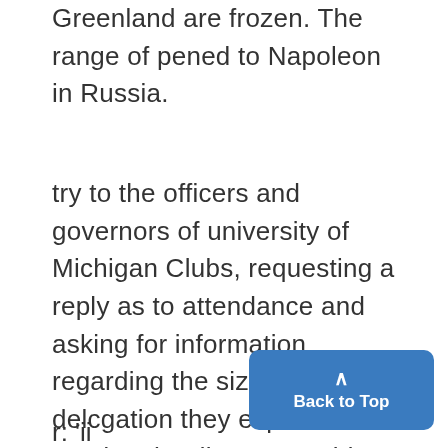Greenland are frozen. The range of pened to Napoleon in Russia.
try to the officers and governors of university of Michigan Clubs, requesting a reply as to attendance and asking for information regarding the size of the delcgation they expect to send to the dinner. President Ottoway expects that every University of Michigan Club in the association will be represented at this function delegation.
r: 'ii